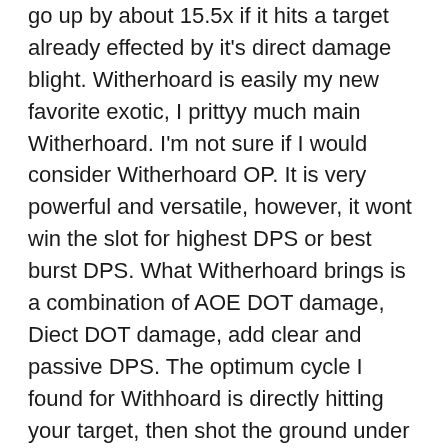go up by about 15.5x if it hits a target already effected by it's direct damage blight. Witherhoard is easily my new favorite exotic, I prittyy much main Witherhoard. I'm not sure if I would consider Witherhoard OP. It is very powerful and versatile, however, it wont win the slot for highest DPS or best burst DPS. What Witherhoard brings is a combination of AOE DOT damage, Diect DOT damage, add clear and passive DPS. The optimum cycle I found for Withhoard is directly hitting your target, then shot the ground under them, then directly at them again. After this, switch from Witherhoard to your Power Weapon or anything else for an insane dps combo. Witherhoard has two unique perks:  WITHERHOARD  Exotic / Kinetic /